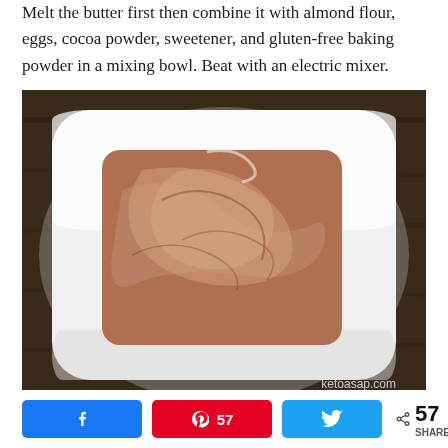Melt the butter first then combine it with almond flour, eggs, cocoa powder, sweetener, and gluten-free baking powder in a mixing bowl. Beat with an electric mixer.
[Figure (photo): A white square plate with chocolate almond flour batter spread on it, placed on a dark wooden surface. Watermark reads ketoasap.com.]
57 SHARES — Facebook share button, Pinterest share button (57), Twitter share button